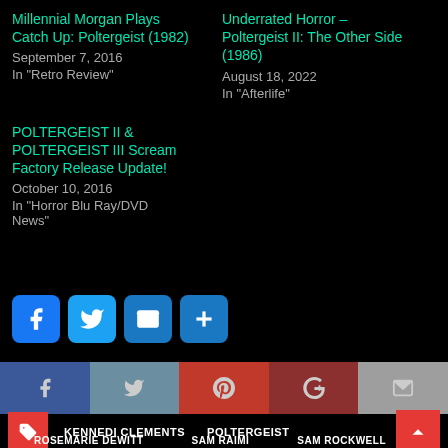Millennial Morgan Plays Catch Up: Poltergeist (1982)
September 7, 2016
In "Retro Review"
Underrated Horror – Poltergeist II: The Other Side (1986)
August 18, 2022
In "Afterlife"
POLTERGEIST II & POLTERGEIST III Scream Factory Release Update!
October 10, 2016
In "Horror Blu Ray/DVD News"
[Figure (infographic): Social share buttons: Facebook (blue), Twitter (blue), Email (blue), Plus/Share (blue)]
[Figure (infographic): Social share bar: Facebook (dark blue), Twitter (steel blue), Pinterest (red), Google+ (dark red), Email (gray)]
[Figure (infographic): Tags row with red tag icon, KENNEDI CLEMENTS, POLTERGEIST labels, red scroll-to-top arrow button]
ROSEMARIE DEWITT   SAM RAIMI   SAM ROCKWELL